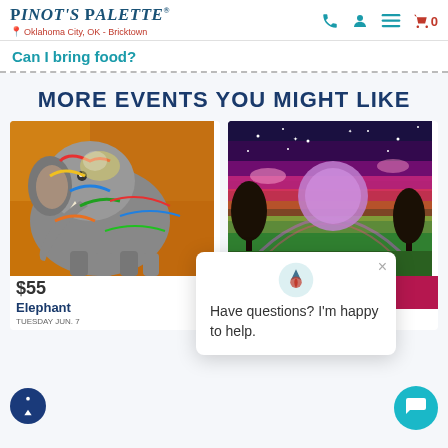Pinot's Palette | Oklahoma City, OK - Bricktown
Can I bring food?
MORE EVENTS YOU MIGHT LIKE
[Figure (photo): Colorful painting of an elephant with rainbow colors on a warm orange/brown background]
[Figure (photo): Colorful night sky painting with moon, trees silhouetted, rainbow colors in sky]
THURSDAY JUN. 9
Register For Class
THU 5:00PM
[Figure (logo): Pinot's Palette chat popup logo (wine glass icon)]
Have questions? I'm happy to help.
$55
Elephant
TUESDAY JUN. 7
$35.00 per guest